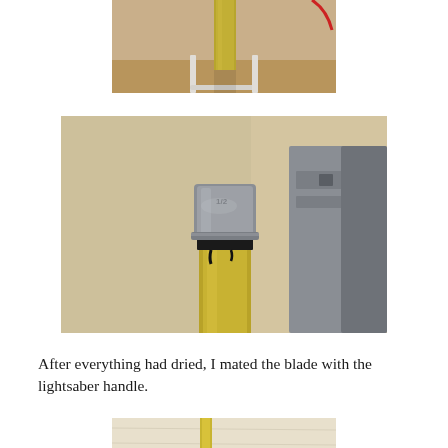[Figure (photo): Close-up photo showing the top of a yellow tube/rod with a white bracket or stand visible beneath it, against a light background.]
[Figure (photo): Close-up photo of a metal pipe fitting (gray galvanized cap/coupler) mounted on top of a yellow PVC or polycarbonate tube/rod, with black adhesive or tape at the junction. Background shows a beige wall and gray computer tower.]
After everything had dried, I mated the blade with the lightsaber handle.
[Figure (photo): Partially visible photo at bottom of page showing the top portion of what appears to be a lightsaber handle/prop made from pipe fittings, with a yellow blade/rod visible, against a light wood-grain surface.]